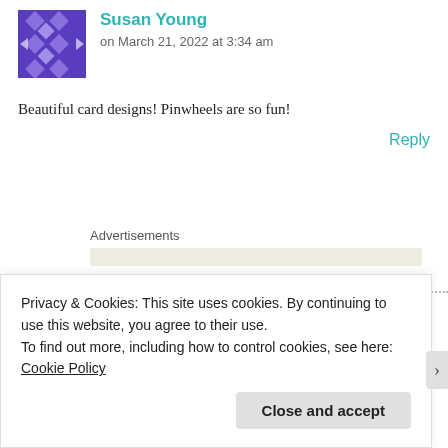[Figure (illustration): Purple decorative avatar icon with geometric pattern for user Susan Young]
Susan Young
on March 21, 2022 at 3:34 am
Beautiful card designs! Pinwheels are so fun!
Reply
Advertisements
[Figure (illustration): Green decorative avatar icon with geometric diamond pattern for user Farhana Sarker]
Farhana Sarker
on March 21, 2022 at 4:24 pm
Privacy & Cookies: This site uses cookies. By continuing to use this website, you agree to their use.
To find out more, including how to control cookies, see here: Cookie Policy
Close and accept